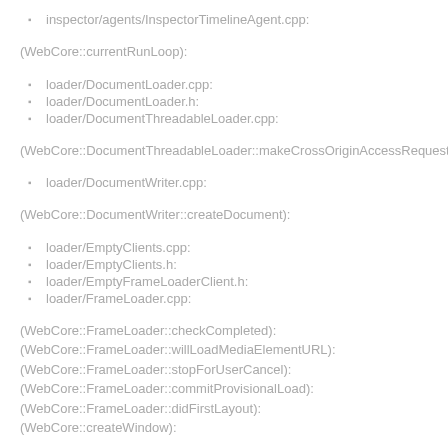inspector/agents/InspectorTimelineAgent.cpp:
(WebCore::currentRunLoop):
loader/DocumentLoader.cpp:
loader/DocumentLoader.h:
loader/DocumentThreadableLoader.cpp:
(WebCore::DocumentThreadableLoader::makeCrossOriginAccessRequest):
loader/DocumentWriter.cpp:
(WebCore::DocumentWriter::createDocument):
loader/EmptyClients.cpp:
loader/EmptyClients.h:
loader/EmptyFrameLoaderClient.h:
loader/FrameLoader.cpp:
(WebCore::FrameLoader::checkCompleted):
(WebCore::FrameLoader::willLoadMediaElementURL):
(WebCore::FrameLoader::stopForUserCancel):
(WebCore::FrameLoader::commitProvisionalLoad):
(WebCore::FrameLoader::didFirstLayout):
(WebCore::createWindow):
loader/FrameLoader.h:
loader/FrameLoaderClient.h:
loader/HistoryController.cpp: